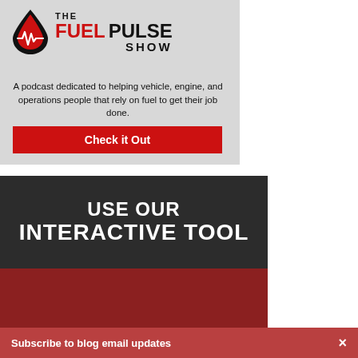[Figure (logo): The Fuel Pulse Show podcast logo with red drop and heartbeat icon, red FUEL text, black PULSE and SHOW text]
A podcast dedicated to helping vehicle, engine, and operations people that rely on fuel to get their job done.
Check it Out
USE OUR INTERACTIVE TOOL
FUEL HEALTH CHECK
Subscribe to blog email updates